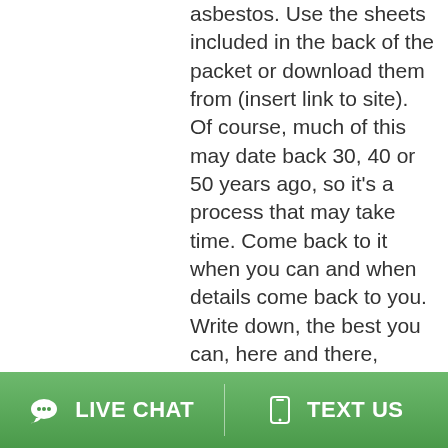asbestos. Use the sheets included in the back of the packet or download them from (insert link to site). Of course, much of this may date back 30, 40 or 50 years ago, so it's a process that may take time. Come back to it when you can and when details come back to you. Write down, the best you can, here and there, come back to the worksheets again, put it together on the included sheets. If possible, include years, co-workers/supervisors, employers, other contractors, short descriptors of the jobs/sites.
LIVE CHAT   TEXT US